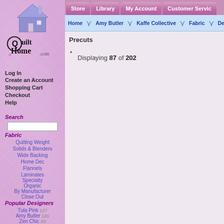[Figure (logo): QuiltHome.com logo with purple house icon and decorative floral motif]
Store | Library | My Account | Customer Service
Home | Amy Butler | Kaffe Collective | Fabric | Design
Not Logged In
Log In
Create an Account
Shopping Cart
Checkout
Help
Search
Fabric
Quilting Weight
Solids & Blenders
Wide Backing
Home Dec
Flannels
Laminates
Specialty
Organic
By Manufacturer
Close Out
Popular Designers
Tula Pink 127
Amy Butler 120
Zen Chic 83
Kaffe Fassett 59
Valori Wells 52
Precuts
Displaying 87 of 202